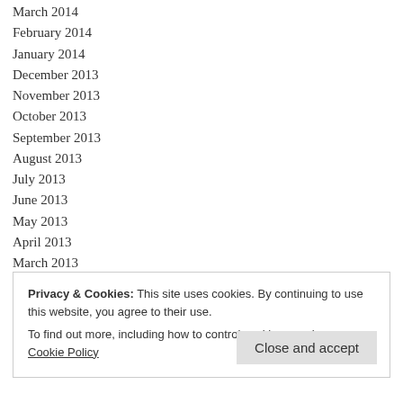March 2014
February 2014
January 2014
December 2013
November 2013
October 2013
September 2013
August 2013
July 2013
June 2013
May 2013
April 2013
March 2013
February 2013
January 2013
Privacy & Cookies: This site uses cookies. By continuing to use this website, you agree to their use. To find out more, including how to control cookies, see here: Cookie Policy
Close and accept